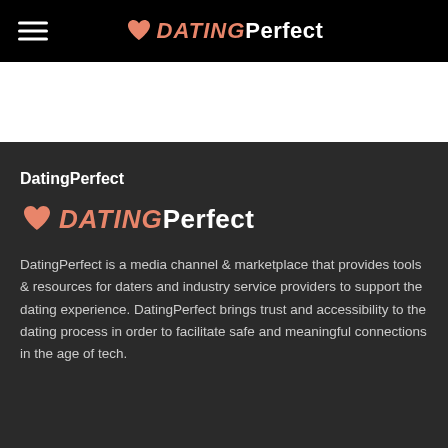DatingPerfect
DatingPerfect
[Figure (logo): DatingPerfect logo with heart icon, DATING in salmon/orange italic bold and Perfect in white bold]
DatingPerfect is a media channel & marketplace that provides tools & resources for daters and industry service providers to support the dating experience. DatingPerfect brings trust and accessibility to the dating process in order to facilitate safe and meaningful connections in the age of tech.